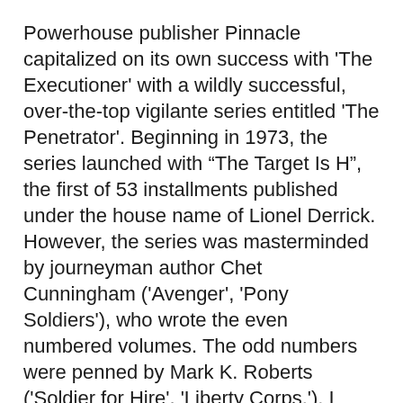Powerhouse publisher Pinnacle capitalized on its own success with 'The Executioner' with a wildly successful, over-the-top vigilante series entitled 'The Penetrator'. Beginning in 1973, the series launched with “The Target Is H”, the first of 53 installments published under the house name of Lionel Derrick. However, the series was masterminded by journeyman author Chet Cunningham ('Avenger', 'Pony Soldiers'), who wrote the even numbered volumes. The odd numbers were penned by Mark K. Roberts ('Soldier for Hire', 'Liberty Corps.'). I decided to check out where it all began - Penetrator #1: “The Target is H”.
The novel introduces series protagonist Mark Hardin and the events that led to his war on organized crime. Hardin excelled in sports, eventually lettering in wrestling, basketball and football in high school. On the cusp of a lucrative NFL contract, Hardin